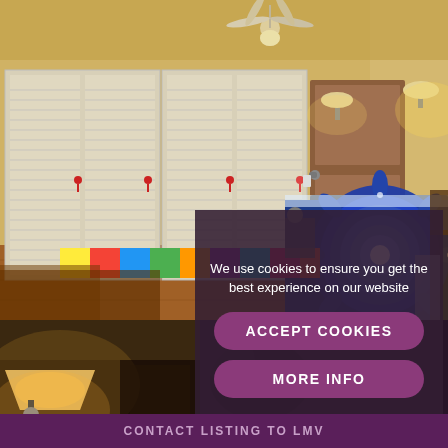[Figure (photo): Bedroom photo showing a bed with blue mandala bedspread, white louvered wardrobe doors, brown wooden door, ceiling fan, wall lamps, and colorful striped rug on tile floor.]
[Figure (photo): Close-up photo of a wall lamp with beige lampshade, dimly lit room.]
We use cookies to ensure you get the best experience on our website
ACCEPT COOKIES
MORE INFO
CONTACT LISTING TO LMV